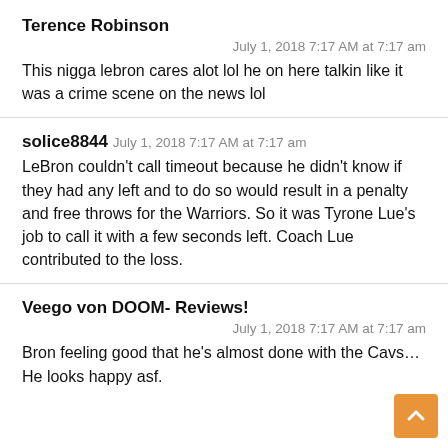Terence Robinson
July 1, 2018 7:17 AM at 7:17 am
This nigga lebron cares alot lol he on here talkin like it was a crime scene on the news lol
solice8844
July 1, 2018 7:17 AM at 7:17 am
LeBron couldn't call timeout because he didn't know if they had any left and to do so would result in a penalty and free throws for the Warriors. So it was Tyrone Lue's job to call it with a few seconds left. Coach Lue contributed to the loss.
Veego von DOOM- Reviews!
July 1, 2018 7:17 AM at 7:17 am
Bron feeling good that he's almost done with the Cavs… He looks happy asf.